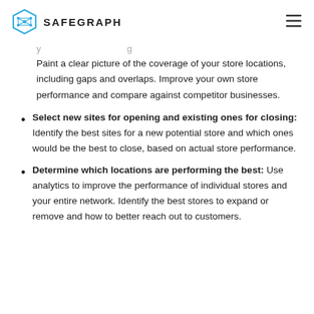SAFEGRAPH
Paint a clear picture of the coverage of your store locations, including gaps and overlaps. Improve your own store performance and compare against competitor businesses.
Select new sites for opening and existing ones for closing: Identify the best sites for a new potential store and which ones would be the best to close, based on actual store performance.
Determine which locations are performing the best: Use analytics to improve the performance of individual stores and your entire network. Identify the best stores to expand or remove and how to better reach out to customers.